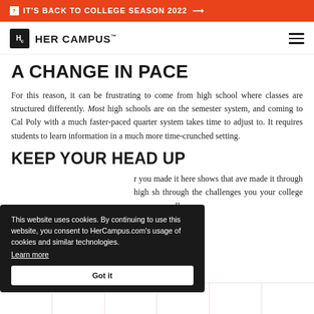IT'S BACK TO COLLEGE SEASON 2022 →
[Figure (logo): Her Campus logo with Hc icon and text HER CAMPUS]
A CHANGE IN PACE
For this reason, it can be frustrating to come from high school where classes are structured differently. Most high schools are on the semester system, and coming to Cal Poly with a much faster-paced quarter system takes time to adjust to. It requires students to learn information in a much more time-crunched setting.
KEEP YOUR HEAD UP
This website uses cookies. By continuing to use this website, you consent to HerCampus.com's usage of cookies and similar technologies. Learn more Got it
r you made it here shows that ave made it through high sh through the challenges you your college career as well.